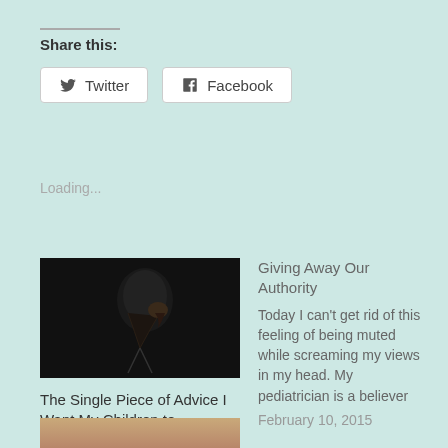Share this:
Twitter  Facebook
Loading...
[Figure (photo): Dark silhouette of a person's head against a black background]
The Single Piece of Advice I Want My Children to Understand about Relationships
August 3, 2021
In "Divorce"
Giving Away Our Authority
Today I can't get rid of this feeling of being muted while screaming my views in my head. My pediatrician is a believer
February 10, 2015